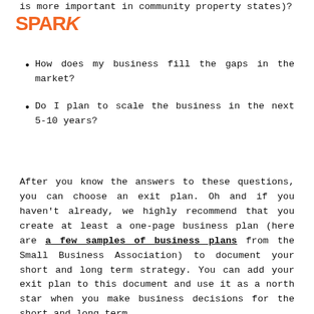[Figure (logo): SPARK logo in orange bold text]
is more important in community property states)?
How does my business fill the gaps in the market?
Do I plan to scale the business in the next 5-10 years?
After you know the answers to these questions, you can choose an exit plan. Oh and if you haven't already, we highly recommend that you create at least a one-page business plan (here are a few samples of business plans from the Small Business Association) to document your short and long term strategy. You can add your exit plan to this document and use it as a north star when you make business decisions for the short and long term.